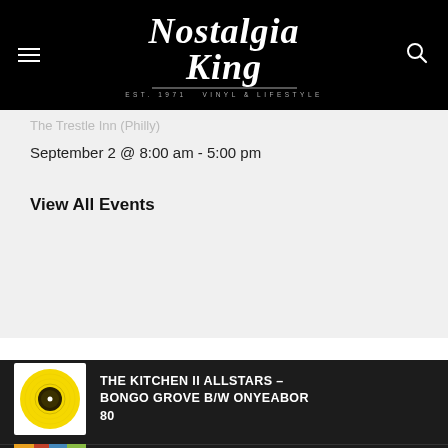Nostalgia King — EST. 1971 VINYL & LIFESTYLE
The Trestle Inn (Philly)
September 2 @ 8:00 am - 5:00 pm
View All Events
[Figure (photo): Yellow 7-inch vinyl record on white background]
THE KITCHEN II ALLSTARS – BONGO GROVE B/W ONYEABOR 80
[Figure (photo): Colorful abstract artwork partially visible at bottom]